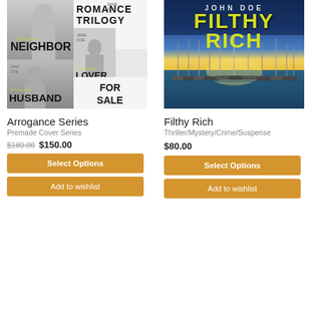[Figure (illustration): Arrogance Series premade book cover collage showing multiple romance novel covers with titles: NEIGHBOR, LOVER, HUSBAND, with ROMANCE TRILOGY header and FOR SALE text. Jane Doe author name shown. Covers feature male models in black and white with green/yellow script accents.]
[Figure (illustration): Filthy Rich book cover showing a marina with sailboats at sunset, blue and yellow color scheme. Author JOHN DOE at top, title FILTHY RICH in large yellow letters.]
Arrogance Series
Premade Cover Series
$180.00 $150.00
Select Options
Add to wishlist
Filthy Rich
Thriller/Mystery/Crime/Suspense
$80.00
Select Options
Add to wishlist